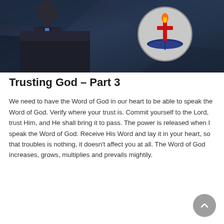[Figure (photo): A man in a dark suit with a blue tie speaking at a podium, with a dark blue/teal geometric background. A circular church logo featuring a cross with a flame and an open Bible is visible on the right side of the image.]
Trusting God – Part 3
We need to have the Word of God in our heart to be able to speak the Word of God. Verify where your trust is. Commit yourself to the Lord, trust Him, and He shall bring it to pass. The power is released when I speak the Word of God. Receive His Word and lay it in your heart, so that troubles is nothing, it doesn't affect you at all. The Word of God increases, grows, multiplies and prevails mightily.